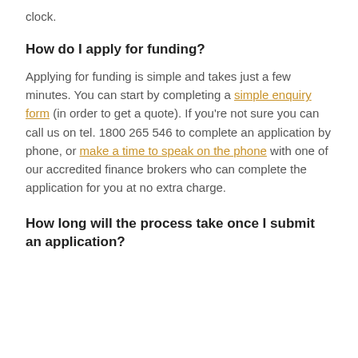clock.
How do I apply for funding?
Applying for funding is simple and takes just a few minutes. You can start by completing a simple enquiry form (in order to get a quote). If you're not sure you can call us on tel. 1800 265 546 to complete an application by phone, or make a time to speak on the phone with one of our accredited finance brokers who can complete the application for you at no extra charge.
How long will the process take once I submit an application?